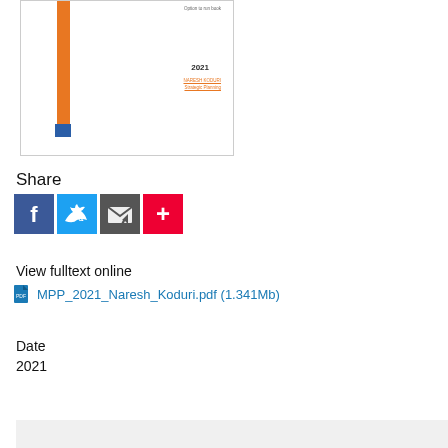[Figure (illustration): Book cover thumbnail showing an orange vertical bar, a small blue square at the bottom, text on the right including year 2021 and author name Naresh Koduri in orange.]
Share
[Figure (infographic): Social sharing icons: Facebook (blue), Twitter (light blue), email/share (dark gray), and a red plus button.]
View fulltext online
MPP_2021_Naresh_Koduri.pdf (1.341Mb)
Date
2021